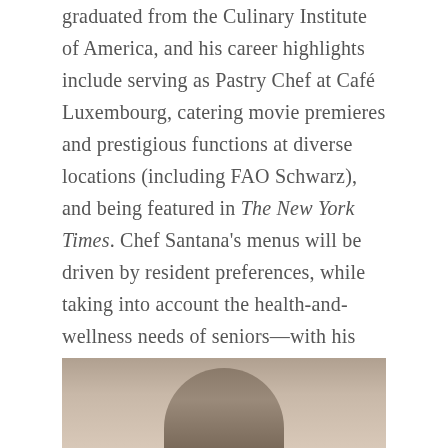graduated from the Culinary Institute of America, and his career highlights include serving as Pastry Chef at Café Luxembourg, catering movie premieres and prestigious functions at diverse locations (including FAO Schwarz), and being featured in The New York Times. Chef Santana's menus will be driven by resident preferences, while taking into account the health-and-wellness needs of seniors—with his goal, ultimately, being to provide one of the most elevated dining experiences in the city, exclusively for our residents.
[Figure (photo): Partial photo of a person, cropped at the bottom of the page]